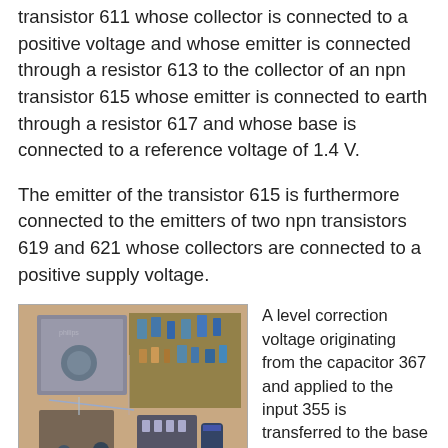transistor 611 whose collector is connected to a positive voltage and whose emitter is connected through a resistor 613 to the collector of an npn transistor 615 whose emitter is connected to earth through a resistor 617 and whose base is connected to a reference voltage of 1.4 V.
The emitter of the transistor 615 is furthermore connected to the emitters of two npn transistors 619 and 621 whose collectors are connected to a positive supply voltage.
[Figure (photo): Photograph of an open electronic device showing circuit boards with components, capacitors, connectors, and a metal enclosure. PCB with various electronic components visible.]
A level correction voltage originating from the capacitor 367 and applied to the input 355 is transferred to the base of the transistor 619 through an npn transistor 623 arranged as an emitter follower while a suppression signal having the waveform 527 applied